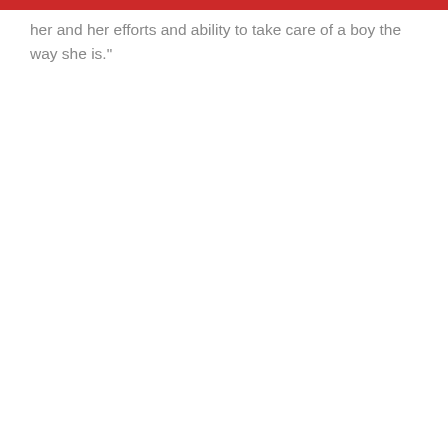her and her efforts and ability to take care of a boy the way she is."